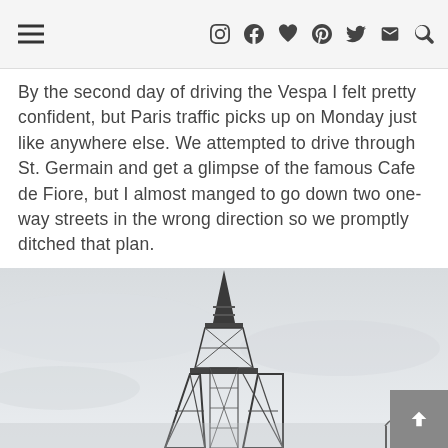navigation header with hamburger menu and social icons
By the second day of driving the Vespa I felt pretty confident, but Paris traffic picks up on Monday just like anywhere else. We attempted to drive through St. Germain and get a glimpse of the famous Cafe de Fiore, but I almost manged to go down two one-way streets in the wrong direction so we promptly ditched that plan.
[Figure (photo): Black and white photo of the Eiffel Tower against a hazy sky, cropped to show the upper two-thirds of the tower.]